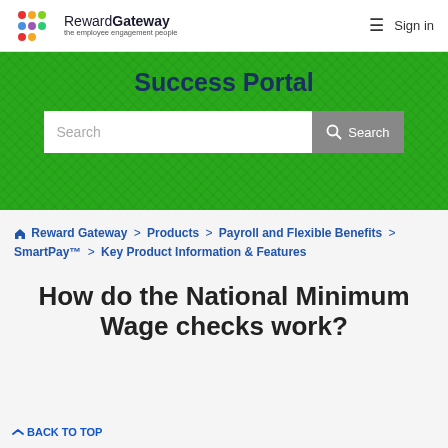[Figure (logo): Reward Gateway logo — colorful dot grid icon with text 'RewardGateway the employee engagement people']
≡  Sign in
Success Portal
Search
🏠 Reward Gateway > Products > Payroll and Flexible Benefits > SmartPay™ > Key Product Information & Features
How do the National Minimum Wage checks work?
∧ BACK TO TOP